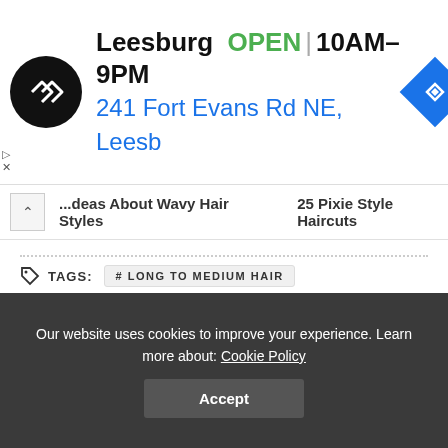[Figure (infographic): Advertisement banner for a Leesburg store location showing logo, OPEN status, hours 10AM-9PM, address 241 Fort Evans Rd NE, Leesb, and navigation icon]
15 Ideas About Wavy Hair Styles   25 Pixie Style Haircuts
# LONG TO MEDIUM HAIR
# LONG TO MEDIUM HAIRSTYLES
# MEDIUM LONG HAIRCUTS
0 SHARES
Our website uses cookies to improve your experience. Learn more about: Cookie Policy
Accept